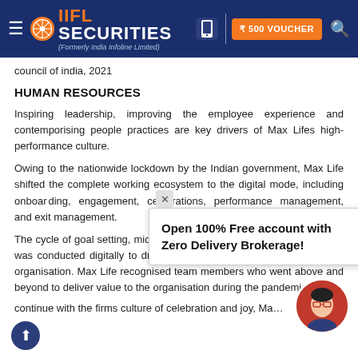IIFL Securities (Formerly India Infoline Limited) — ₹500 VOUCHER
council of india, 2021
HUMAN RESOURCES
Inspiring leadership, improving the employee experience and contemporising people practices are key drivers of Max Lifes high-performance culture.
Owing to the nationwide lockdown by the Indian government, Max Life shifted the complete working ecosystem to the digital mode, including onboarding, engagement, celebrations, performance management, and exit management.
The cycle of goal setting, mid-year check-in and performance appraisal was conducted digitally to drive the performance-based culture in the organisation. Max Life recognised team members who went above and beyond to deliver value to the organisation during the pandemic.
continue with the firms culture of celebration and joy, Ma…